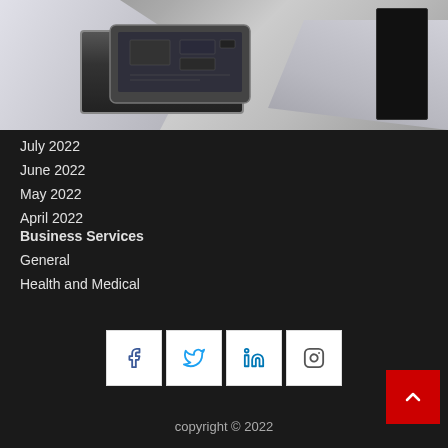[Figure (photo): Person wearing white gloves repairing a smartphone, disassembling the device on a white surface with tools nearby]
July 2022
June 2022
May 2022
April 2022
Business Services
General
Health and Medical
copyright © 2022